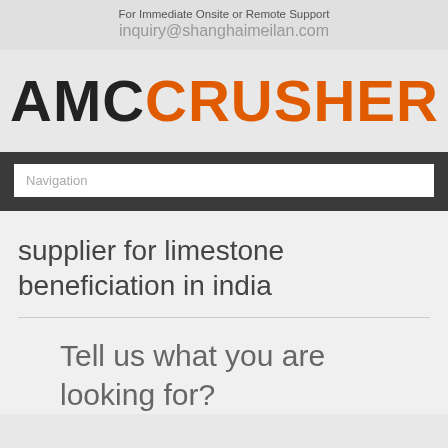For Immediate Onsite or Remote Support
inquiry@shanghaimeilan.com
[Figure (logo): AMC CRUSHER logo with AMC in dark/black and CRUSHER in orange]
Navigation
supplier for limestone beneficiation in india
Tell us what you are looking for?